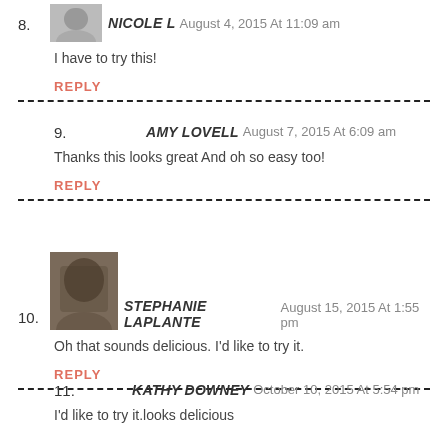8. NICOLE L August 4, 2015 At 11:09 am
I have to try this!
REPLY
9. AMY LOVELL August 7, 2015 At 6:09 am
Thanks this looks great And oh so easy too!
REPLY
10. STEPHANIE LAPLANTE August 15, 2015 At 1:55 pm
Oh that sounds delicious. I'd like to try it.
REPLY
11. KATHY DOWNEY October 10, 2015 At 5:54 pm
I'd like to try it.looks delicious